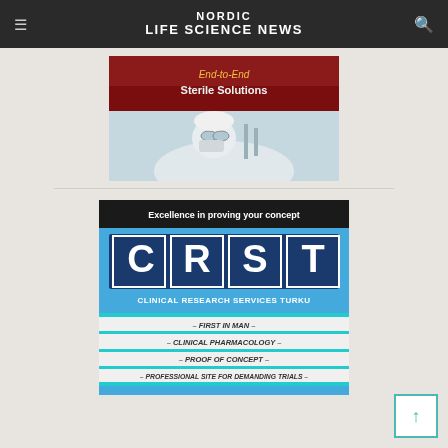NORDIC LIFE SCIENCE NEWS
[Figure (illustration): Partially cropped advertisement banner showing 'End-to-End Sterile Solutions' text over a red background with an image of a person in sterile lab protective gear]
[Figure (illustration): CRST Clinical Research Services Turku advertisement. Black header: 'Excellence in proving your concept'. Blue background with large white block letters CRST. Text: 'CLINICAL RESEARCH SERVICES TURKU'. White background with italic text rows: '- FIRST IN MAN -', '- CLINICAL PHARMACOLOGY -', '- PROOF OF CONCEPT -', '- PROFESSIONAL SITE FOR DEMANDING TRIALS -', each separated by cyan/teal horizontal bars.]